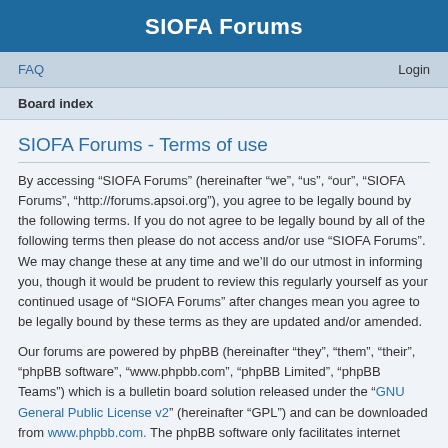SIOFA Forums
FAQ    Login
Board index
SIOFA Forums - Terms of use
By accessing “SIOFA Forums” (hereinafter “we”, “us”, “our”, “SIOFA Forums”, “http://forums.apsoi.org”), you agree to be legally bound by the following terms. If you do not agree to be legally bound by all of the following terms then please do not access and/or use “SIOFA Forums”. We may change these at any time and we’ll do our utmost in informing you, though it would be prudent to review this regularly yourself as your continued usage of “SIOFA Forums” after changes mean you agree to be legally bound by these terms as they are updated and/or amended.
Our forums are powered by phpBB (hereinafter “they”, “them”, “their”, “phpBB software”, “www.phpbb.com”, “phpBB Limited”, “phpBB Teams”) which is a bulletin board solution released under the “GNU General Public License v2” (hereinafter “GPL”) and can be downloaded from www.phpbb.com. The phpBB software only facilitates internet based discussions; phpBB Limited is not responsible for what we allow and/or disallow as permissible content and/or conduct. For further information about phpBB, please see: https://www.phpbb.com/.